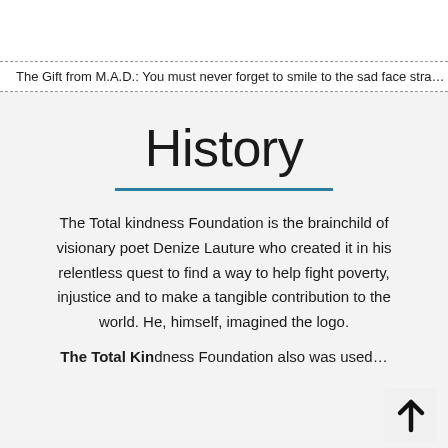The Gift from M.A.D.: You must never forget to smile to the sad face stra…
History
The Total kindness Foundation is the brainchild of visionary poet Denize Lauture who created it in his relentless quest to find a way to help fight poverty, injustice and to make a tangible contribution to the world. He, himself, imagined the logo.
The Total Kindness Foundation also was used…